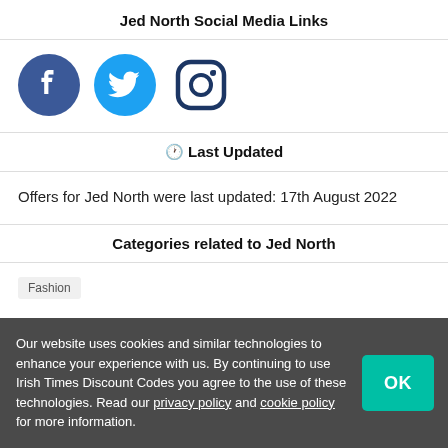Jed North Social Media Links
[Figure (logo): Three social media icons: Facebook (dark blue circle with white 'f'), Twitter (light blue circle with white bird), Instagram (dark blue outlined camera icon)]
🕐 Last Updated
Offers for Jed North were last updated: 17th August 2022
Categories related to Jed North
Fashion
Our website uses cookies and similar technologies to enhance your experience with us. By continuing to use Irish Times Discount Codes you agree to the use of these technologies. Read our privacy policy and cookie policy for more information.